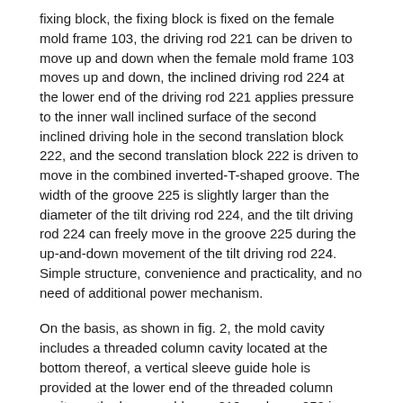fixing block, the fixing block is fixed on the female mold frame 103, the driving rod 221 can be driven to move up and down when the female mold frame 103 moves up and down, the inclined driving rod 224 at the lower end of the driving rod 221 applies pressure to the inner wall inclined surface of the second inclined driving hole in the second translation block 222, and the second translation block 222 is driven to move in the combined inverted-T-shaped groove. The width of the groove 225 is slightly larger than the diameter of the tilt driving rod 224, and the tilt driving rod 224 can freely move in the groove 225 during the up-and-down movement of the tilt driving rod 224. Simple structure, convenience and practicality, and no need of additional power mechanism.
On the basis, as shown in fig. 2, the mold cavity includes a threaded column cavity located at the bottom thereof, a vertical sleeve guide hole is provided at the lower end of the threaded column cavity on the lower mold core 210, a sleeve 250 is provided in the sleeve guide hole, an inner slide bar 251 is provided in the sleeve 250, a circular truncated cone 252 protruding from the upper end of the sleeve 250 is provided at the upper end of the inner slide